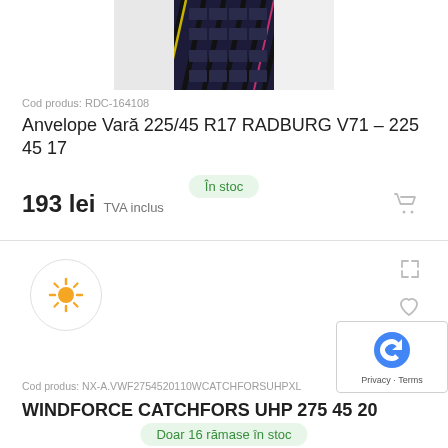[Figure (photo): Close-up photo of a car tire tread from above, dark background]
Cod produs: RDC-164108
Anvelope Vară 225/45 R17 RADBURG V71 – 225 45 17
În stoc
193 lei  TVA inclus
[Figure (illustration): Summer tire season icon — sun symbol inside a circle]
Cod produs: NX-A.VWF2754520110WCATCHFORSUHPXL
WINDFORCE CATCHFORS UHP 275 45 20
Doar 16 rămase în stoc